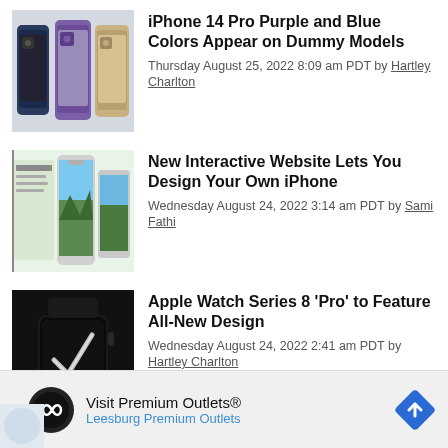iPhone 14 Pro Purple and Blue Colors Appear on Dummy Models — Thursday August 25, 2022 8:09 am PDT by Hartley Charlton
New Interactive Website Lets You Design Your Own iPhone — Wednesday August 24, 2022 3:14 am PDT by Sami Fathi
Apple Watch Series 8 'Pro' to Feature All-New Design — Wednesday August 24, 2022 2:41 am PDT by Hartley Charlton
Visit Premium Outlets® Leesburg Premium Outlets